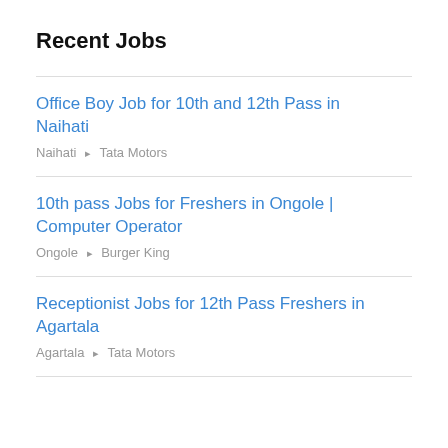Recent Jobs
Office Boy Job for 10th and 12th Pass in Naihati
Naihati ▸ Tata Motors
10th pass Jobs for Freshers in Ongole | Computer Operator
Ongole ▸ Burger King
Receptionist Jobs for 12th Pass Freshers in Agartala
Agartala ▸ Tata Motors